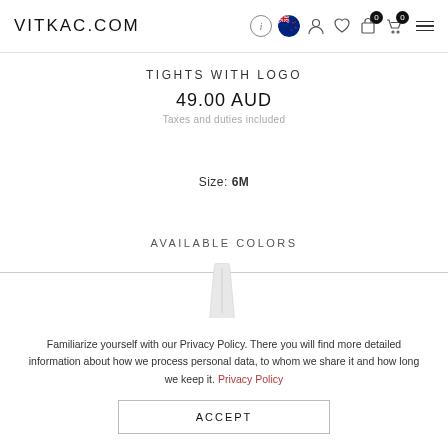VITKAC.COM
TIGHTS WITH LOGO
49.00 AUD
Taxes and duties included
Size: 6M
AVAILABLE COLORS
Familiarize yourself with our Privacy Policy. There you will find more detailed information about how we process personal data, to whom we share it and how long we keep it. Privacy Policy
ACCEPT